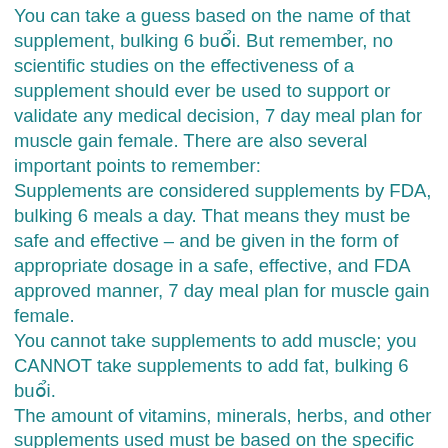You can take a guess based on the name of that supplement, bulking 6 buổi. But remember, no scientific studies on the effectiveness of a supplement should ever be used to support or validate any medical decision, 7 day meal plan for muscle gain female. There are also several important points to remember: Supplements are considered supplements by FDA, bulking 6 meals a day. That means they must be safe and effective – and be given in the form of appropriate dosage in a safe, effective, and FDA approved manner, 7 day meal plan for muscle gain female. You cannot take supplements to add muscle; you CANNOT take supplements to add fat, bulking 6 buổi. The amount of vitamins, minerals, herbs, and other supplements used must be based on the specific needs of each individual client. There is no science that shows that more creatine per day is better than less creatine per day. Supplements can have negative side effects including